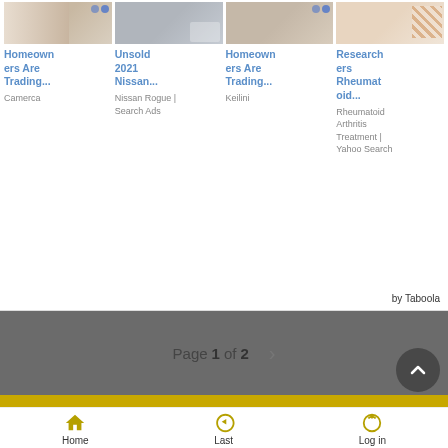[Figure (screenshot): Four advertisement cards with images at top. Card 1: 'Homeowners Are Trading...' from Camerca. Card 2: 'Unsold 2021 Nissan...' from Nissan Rogue | Search Ads. Card 3: 'Homeowners Are Trading...' from Keilini. Card 4: 'Researchers Rheumatoid...' from Rheumatoid Arthritis Treatment | Yahoo Search.]
by Taboola
Page 1 of 2
Home  Last  Log in